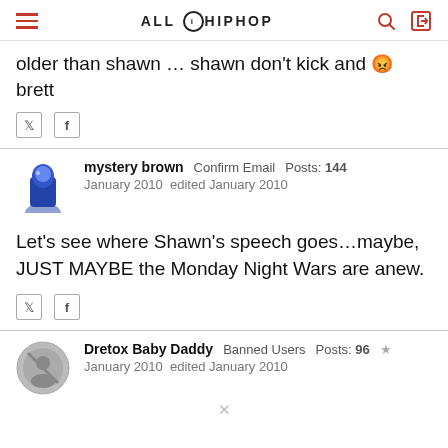ALL HIP HOP
older than shawn … shawn don't kick and 😡 brett
mystery brown  Confirm Email  Posts: 144  January 2010  edited January 2010
Let's see where Shawn's speech goes…maybe, JUST MAYBE the Monday Night Wars are anew.
Dretox Baby Daddy  Banned Users  Posts: 96  January 2010  edited January 2010